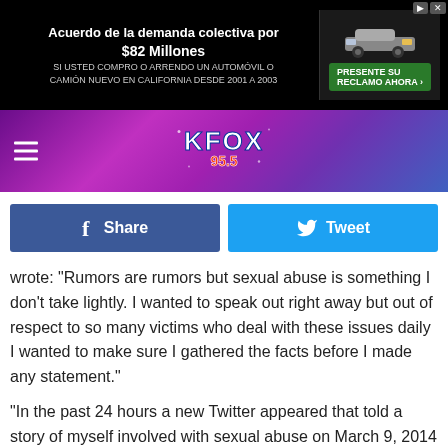[Figure (screenshot): Advertisement banner for 'Acuerdo de la demanda colectiva por $82 Millones' with car image and green 'Presente su Reclamo Ahora' button on black background]
[Figure (logo): KFOX 95.5 radio station logo and website header with purple/pink geometric background and hamburger menu]
[Figure (screenshot): Facebook Share and Twitter Tweet social sharing buttons]
wrote: "Rumors are rumors but sexual abuse is something I don't take lightly. I wanted to speak out right away but out of respect to so many victims who deal with these issues daily I wanted to make sure I gathered the facts before I made any statement."
"In the past 24 hours a new Twitter appeared that told a story of myself involved with sexual abuse on March 9, 2014 in Austin Texas at the Four Seasons hotel," Bieber continued. "I want to be clear. There is no truth to this story. In fact as I will soon show I was never present at that location."